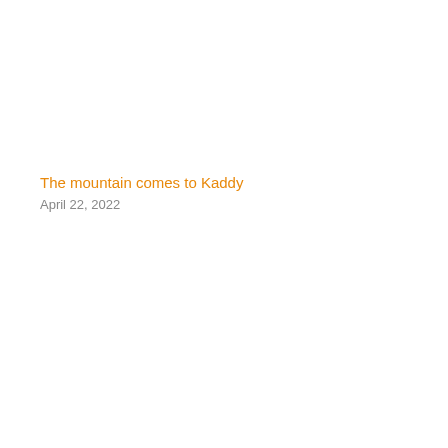The mountain comes to Kaddy
April 22, 2022